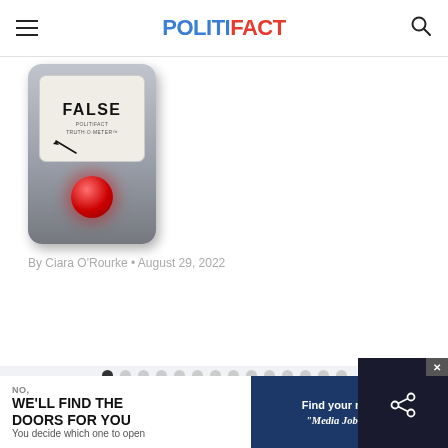POLITIFACT
[Figure (illustration): PolitiFact Truth-O-Meter gauge showing FALSE rating with a red indicator ball]
By Ciara O'Rourke • August 29, 2022
[Figure (infographic): Carousel navigation dots — 15 dots total, first one active (dark), rest light gray, plus one smaller dot below]
[Figure (infographic): Previous and Next navigation arrow buttons]
[Figure (screenshot): Advertisement banner: WE'LL FIND THE DOORS FOR YOU / You decide which one to open, and Find your next job / Media Job Board]
NO,